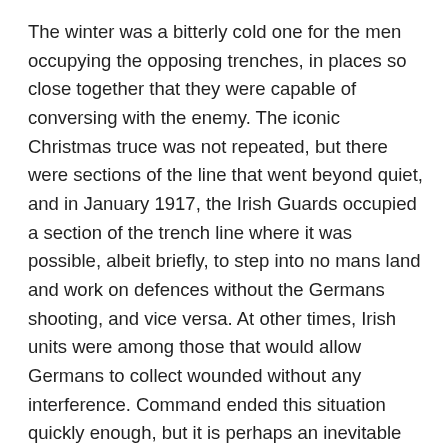The winter was a bitterly cold one for the men occupying the opposing trenches, in places so close together that they were capable of conversing with the enemy. The iconic Christmas truce was not repeated, but there were sections of the line that went beyond quiet, and in January 1917, the Irish Guards occupied a section of the trench line where it was possible, albeit briefly, to step into no mans land and work on defences without the Germans shooting, and vice versa. At other times, Irish units were among those that would allow Germans to collect wounded without any interference. Command ended this situation quickly enough, but it is perhaps an inevitable reaction to the violence of the previous months and the need to focus on the environment as the primary foe at that time.